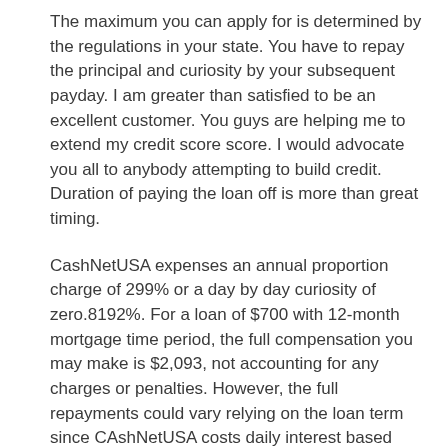The maximum you can apply for is determined by the regulations in your state. You have to repay the principal and curiosity by your subsequent payday. I am greater than satisfied to be an excellent customer. You guys are helping me to extend my credit score score. I would advocate you all to anybody attempting to build credit. Duration of paying the loan off is more than great timing.
CashNetUSA expenses an annual proportion charge of 299% or a day by day curiosity of zero.8192%. For a loan of $700 with 12-month mortgage time period, the full compensation you may make is $2,093, not accounting for any charges or penalties. However, the full repayments could vary relying on the loan term since CAshNetUSA costs daily interest based mostly on the mortgage excellent stability. Therefore, the reducing interest as you make your periodic